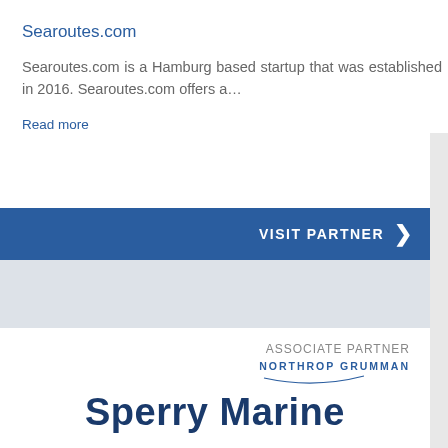Searoutes.com
Searoutes.com is a Hamburg based startup that was established in 2016. Searoutes.com offers a...
Read more
VISIT PARTNER
[Figure (logo): ASSOCIATE PARTNER label with Northrop Grumman logo and Sperry Marine brand text in dark blue]
ASSOCIATE PARTNER
NORTHROP GRUMMAN
Sperry Marine